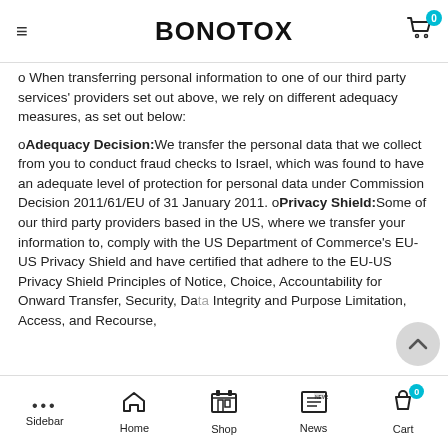BONOTOX
o When transferring personal information to one of our third party services' providers set out above, we rely on different adequacy measures, as set out below:
oAdequacy Decision:We transfer the personal data that we collect from you to conduct fraud checks to Israel, which was found to have an adequate level of protection for personal data under Commission Decision 2011/61/EU of 31 January 2011. oPrivacy Shield:Some of our third party providers based in the US, where we transfer your information to, comply with the US Department of Commerce's EU-US Privacy Shield and have certified that adhere to the EU-US Privacy Shield Principles of Notice, Choice, Accountability for Onward Transfer, Security, Data Integrity and Purpose Limitation, Access, and Recourse,
Sidebar | Home | Shop | News | Cart